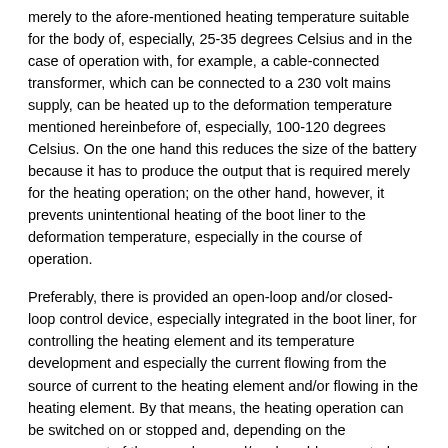merely to the afore-mentioned heating temperature suitable for the body of, especially, 25-35 degrees Celsius and in the case of operation with, for example, a cable-connected transformer, which can be connected to a 230 volt mains supply, can be heated up to the deformation temperature mentioned hereinbefore of, especially, 100-120 degrees Celsius. On the one hand this reduces the size of the battery because it has to produce the output that is required merely for the heating operation; on the other hand, however, it prevents unintentional heating of the boot liner to the deformation temperature, especially in the course of operation.
Preferably, there is provided an open-loop and/or closed-loop control device, especially integrated in the boot liner, for controlling the heating element and its temperature development and especially the current flowing from the source of current to the heating element and/or flowing in the heating element. By that means, the heating operation can be switched on or stopped and, depending on the arrangement of the open-loop and/or closed-loop control device, the heating temperature can be raised or lowered. In this context, any open-loop and/or closed-loop control devices known from the prior art can be used. In this case, the use of wireless open-loop and/or closed-loop control devices is also especially applicable for controlling the heating element. This of course also applies to the use of appropriate sensors in order to detect, especially, the temperature in the boot liner. This is possible directly, by means of temperature sensors, or